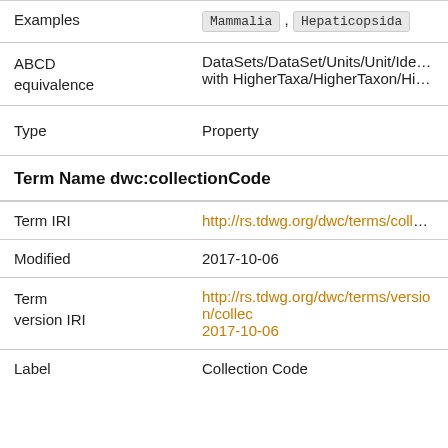| Examples | Mammalia , Hepaticopsida |
| ABCD equivalence | DataSets/DataSet/Units/Unit/Identification with HigherTaxa/HigherTaxon/HigherTaxon... |
| Type | Property |
Term Name dwc:collectionCode
| Term IRI | http://rs.tdwg.org/dwc/terms/collectionCode |
| Modified | 2017-10-06 |
| Term version IRI | http://rs.tdwg.org/dwc/terms/version/collec 2017-10-06 |
| Label | Collection Code |